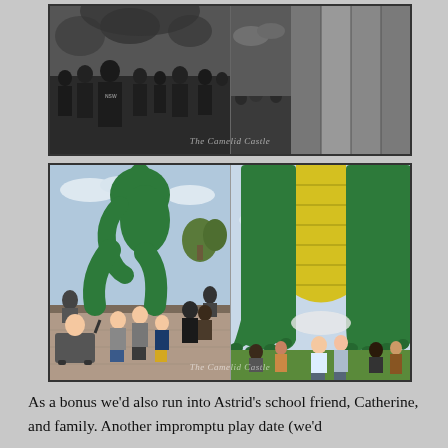[Figure (photo): Two black-and-white photos side by side: left shows a crowd at an outdoor event with a person wearing an NSW shirt; right shows a close-up of a large inflatable balloon and crowd with watermark 'The Camelid Castle']
[Figure (photo): Two color photos side by side: left shows three children standing in front of a giant green dinosaur/creature hot air balloon with crowd and a baby in pram; right shows large green dinosaur feet/legs of a hot air balloon with people standing beneath it. Watermark 'The Camelid Castle']
As a bonus we'd also run into Astrid's school friend, Catherine, and family. Another impromptu play date (we'd